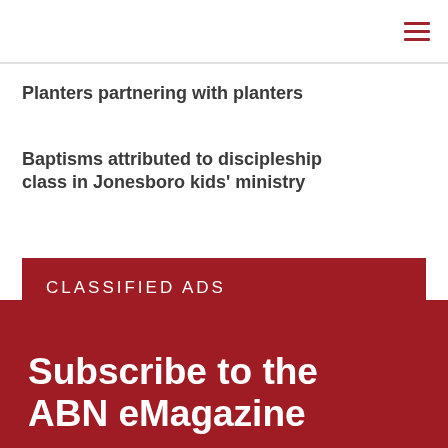≡
Planters partnering with planters
Baptisms attributed to discipleship class in Jonesboro kids' ministry
CLASSIFIED ADS
Subscribe to the ABN eMagazine